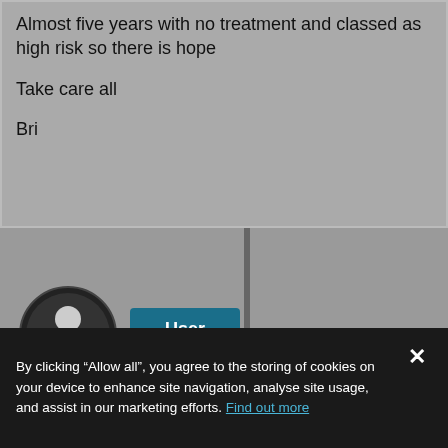Almost five years with no treatment and classed as high risk so there is hope

Take care all

Bri
[Figure (screenshot): User profile icon (person silhouette in dark circle) and a teal 'User' button, with a vertical dark divider line]
By clicking “Allow all”, you agree to the storing of cookies on your device to enhance site navigation, analyse site usage, and assist in our marketing efforts. Find out more